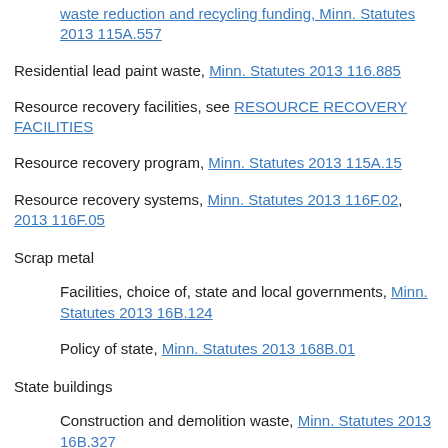Waste reduction and recycling funding, Minn. Statutes 2013 115A.557
Residential lead paint waste, Minn. Statutes 2013 116.885
Resource recovery facilities, see RESOURCE RECOVERY FACILITIES
Resource recovery program, Minn. Statutes 2013 115A.15
Resource recovery systems, Minn. Statutes 2013 116F.02, 2013 116F.05
Scrap metal
Facilities, choice of, state and local governments, Minn. Statutes 2013 16B.124
Policy of state, Minn. Statutes 2013 168B.01
State buildings
Construction and demolition waste, Minn. Statutes 2013 16B.327